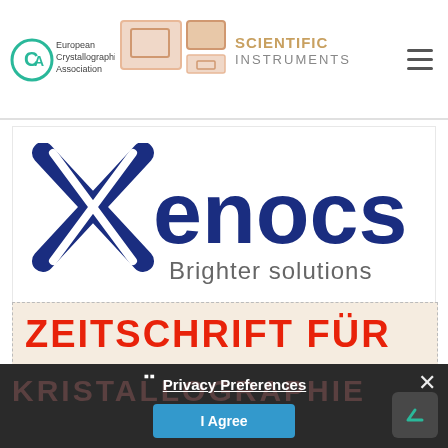European Crystallographic Association | SCIENTIFIC INSTRUMENTS
[Figure (logo): Xenocs logo with X symbol in dark blue and text 'Brighter solutions' in gray]
[Figure (logo): ZEITSCHRIFT FÜR banner in red bold text on light dotted background]
KRISTALLOGRAPHIE
Privacy Preferences
I Agree